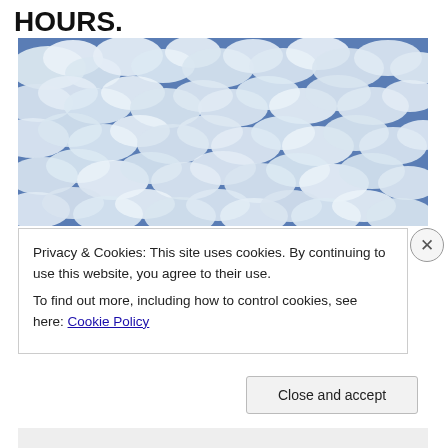HOURS.
[Figure (photo): Photograph of a sky filled with rows of small white altocumulus clouds against a blue sky, viewed from below.]
Privacy & Cookies: This site uses cookies. By continuing to use this website, you agree to their use.
To find out more, including how to control cookies, see here: Cookie Policy
Close and accept